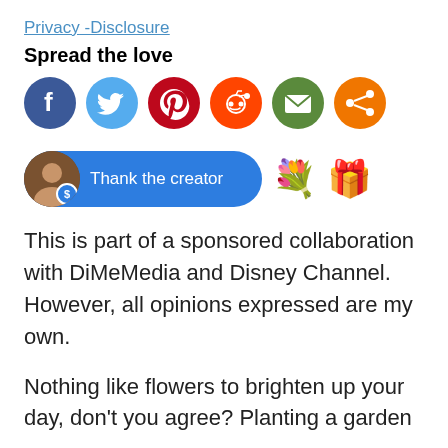Privacy - Disclosure
Spread the love
[Figure (infographic): Six social sharing icon buttons: Facebook (dark blue), Twitter (light blue), Pinterest (red), Reddit (orange-red), Email (green), Share (orange)]
[Figure (infographic): A blue rounded button with avatar and dollar badge reading 'Thank the creator', followed by flower bouquet and gift box emoji icons]
This is part of a sponsored collaboration with DiMeMedia and Disney Channel. However, all opinions expressed are my own.
Nothing like flowers to brighten up your day, don't you agree? Planting a garden